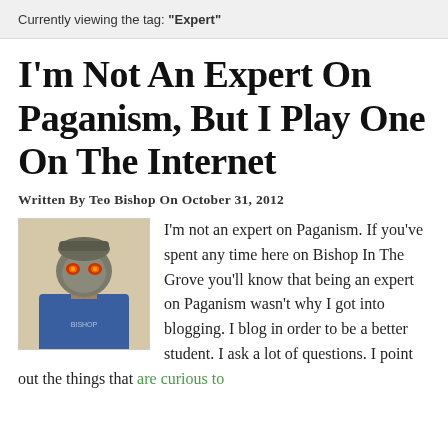Currently viewing the tag: "Expert"
I'm Not An Expert On Paganism, But I Play One On The Internet
Written By Teo Bishop On October 31, 2012
[Figure (photo): Person wearing a robot/alien mask with glowing red eyes, blue shirt with text, against a light yellow background]
I'm not an expert on Paganism. If you've spent any time here on Bishop In The Grove you'll know that being an expert on Paganism wasn't why I got into blogging. I blog in order to be a better student. I ask a lot of questions. I point out the things that are curious to